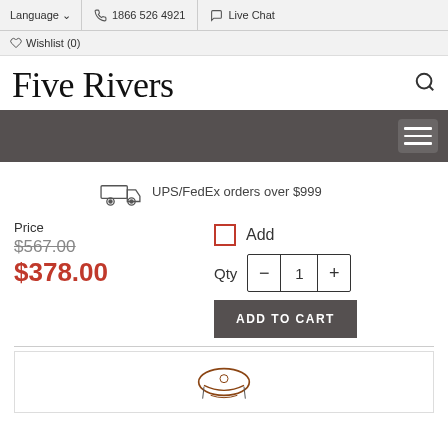Language  |  1866 526 4921  |  Live Chat  |  Wishlist (0)
Five Rivers
UPS/FedEx orders over $999
Price
$567.00
$378.00
Add
Qty  -  1  +
ADD TO CART
[Figure (photo): Partial product image at bottom of page]